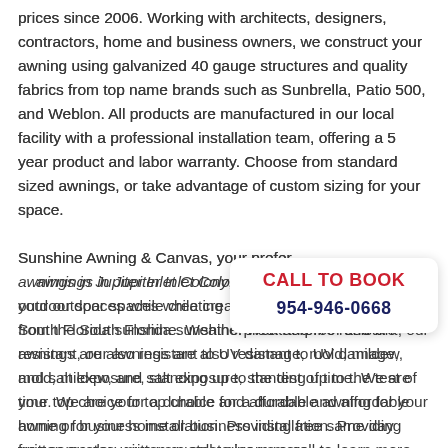prices since 2006. Working with architects, designers, contractors, home and business owners, we construct your awning using galvanized 40 gauge structures and quality fabrics from top name brands such as Sunbrella, Patio 500, and Weblon. All products are manufactured in our local facility with a professional installation team, offering a 5 year product and labor warranty. Choose from standard sized awnings, or take advantage of custom sizing for your space.

Sunshine Awning & Canvas, your preferred awnings in Jupiter Inlet Colony, provides to your outdoor spaces while creating from the South Florida sunshine. Weatherproof and fire resistant, our awnings are also resistant to UV damage, mold, mildew, and salt exposure, standing up to the test of time. We are your top choice for a durable and affordable awning for your home or business installation. Providing free same day written quotes, give us a call to learn more
CALL TO BOOK
954-946-0668